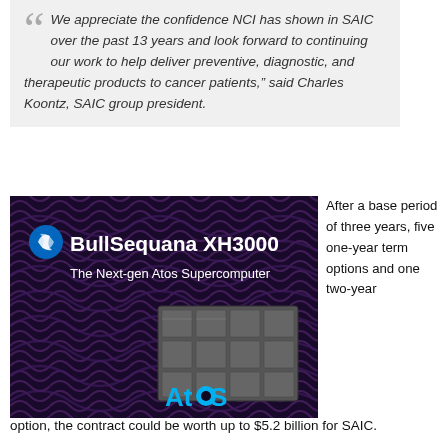“We appreciate the confidence NCI has shown in SAIC over the past 13 years and look forward to continuing our work to help deliver preventive, diagnostic, and therapeutic products to cancer patients,” said Charles Koontz, SAIC group president.
[Figure (photo): BullSequana XH3000 advertisement image with dark purple/black wavy pattern background. Shows the text 'BullSequana XH3000' in white with a blue swirl logo, 'The Next-gen Atos Supercomputer' in white text, a photo of server rack hardware, and the Atos logo in blue at the bottom right.]
After a base period of three years, five one-year term options and one two-year option, the contract could be worth up to $5.2 billion for SAIC.